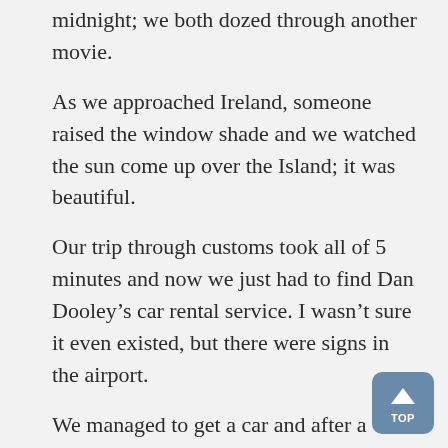midnight; we both dozed through another movie.
As we approached Ireland, someone raised the window shade and we watched the sun come up over the Island; it was beautiful.
Our trip through customs took all of 5 minutes and now we just had to find Dan Dooley’s car rental service. I wasn’t sure it even existed, but there were signs in the airport.
We managed to get a car and after a quick explanation from our bus driver, we were ready to head into Dublin. Okay – take a deep breath – standard